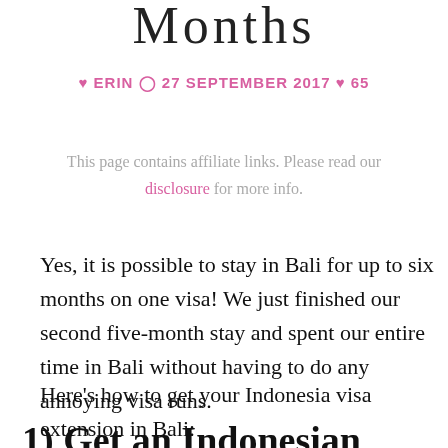Months
Erin  27 September 2017  65
This page contains affiliate links. Please read our disclosure for more info.
Yes, it is possible to stay in Bali for up to six months on one visa! We just finished our second five-month stay and spent our entire time in Bali without having to do any annoying visa runs.
Here’s how to get your Indonesia visa extension in Bali:
1) Get an Indonesian